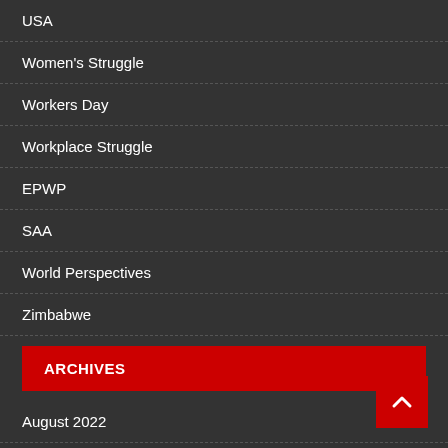USA
Women's Struggle
Workers Day
Workplace Struggle
EPWP
SAA
World Perspectives
Zimbabwe
ARCHIVES
August 2022
June 2022
May 2022
April 2022